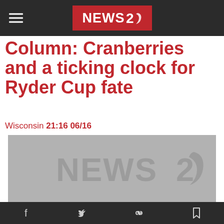NEWS 2
Column: Cranberries and a ticking clock for Ryder Cup fate
Wisconsin 21:16 06/16
[Figure (logo): NEWS 2 logo watermark on grey image placeholder background]
Social share icons: Facebook, Twitter, Link, Bookmark